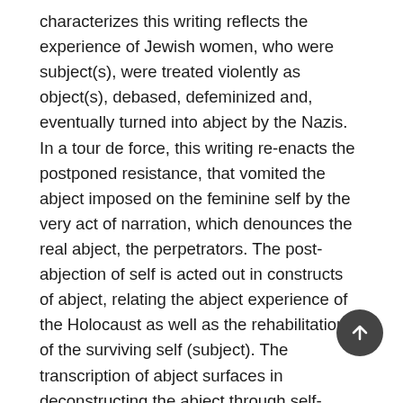characterizes this writing reflects the experience of Jewish women, who were subject(s), were treated violently as object(s), debased, defeminized and, eventually turned into abject by the Nazis. In a tour de force, this writing re-enacts the postponed resistance, that vomited the abject imposed on the feminine self by the very act of narration, which denounces the real abject, the perpetrators. The post-abjection of self is acted out in constructs of abject, relating the abject experience of the Holocaust as well as the rehabilitation of the surviving self (subject). The transcription of abject surfaces in deconstructing the abject through self- characterization, and in the elusive rendering of bad memories, having recourse to literary figures. The narrative 'I' selects, obstructs, mends and tells the past events from an active standpoint, as would a subject in control of its (narrative) fate. In a compensatory movement, the narrating I tells itself by